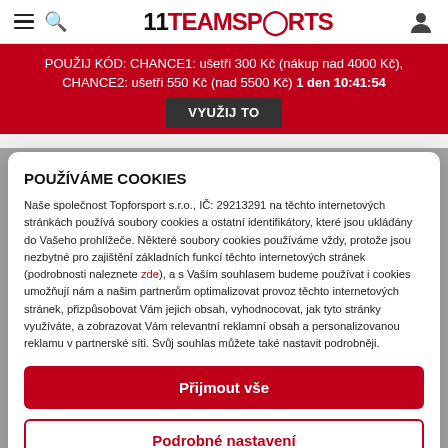11TEAMSPORTS
POUŽIJ KÓD: CHANCE1: ušetři 300 Kč (nákup nad 4000 Kč), CHANCE2: ušetři 550 Kč (nad 5500 Kč) 1 den 10:41:54
VYUŽIJ TO
POUŽÍVÁME COOKIES
Naše společnost Topforsport s.r.o., IČ: 29213291 na těchto internetových stránkách používá soubory cookies a ostatní identifikátory, které jsou ukládány do Vašeho prohlížeče. Některé soubory cookies používáme vždy, protože jsou nezbytné pro zajištění základních funkcí těchto internetových stránek (podrobnosti naleznete zde), a s Vaším souhlasem budeme používat i cookies umožňují nám a našim partnerům optimalizovat provoz těchto internetových stránek, přizpůsobovat Vám jejich obsah, vyhodnocovat, jak tyto stránky využíváte, a zobrazovat Vám relevantní reklamní obsah a personalizovanou reklamu v partnerské síti. Svůj souhlas můžete také nastavit podrobněji.
Přijmout vše
Podrobné nastavení